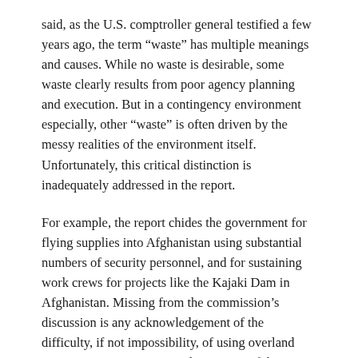said, as the U.S. comptroller general testified a few years ago, the term “waste” has multiple meanings and causes. While no waste is desirable, some waste clearly results from poor agency planning and execution. But in a contingency environment especially, other “waste” is often driven by the messy realities of the environment itself. Unfortunately, this critical distinction is inadequately addressed in the report.
For example, the report chides the government for flying supplies into Afghanistan using substantial numbers of security personnel, and for sustaining work crews for projects like the Kajaki Dam in Afghanistan. Missing from the commission’s discussion is any acknowledgement of the difficulty, if not impossibility, of using overland transportation to move supplies across Afghanistan; the threat environment that drove the security requirements; or the lack of alternatives to providing life support for the workforce involved.